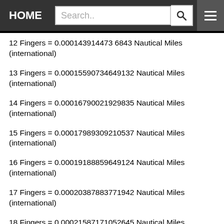HOME | Search..
12 Fingers = 0.000143914473 6843 Nautical Miles (international)
13 Fingers = 0.00015590734649132 Nautical Miles (international)
14 Fingers = 0.00016790021929835 Nautical Miles (international)
15 Fingers = 0.00017989309210537 Nautical Miles (international)
16 Fingers = 0.00019188859649124 Nautical Miles (international)
17 Fingers = 0.00020387883771942 Nautical Miles (international)
18 Fingers = 0.00021587171052645 Nautical Miles